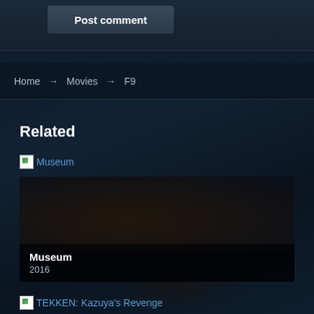Post comment
Home → Movies → F9
Related
Museum
Museum
2016
TEKKEN: Kazuya's Revenge